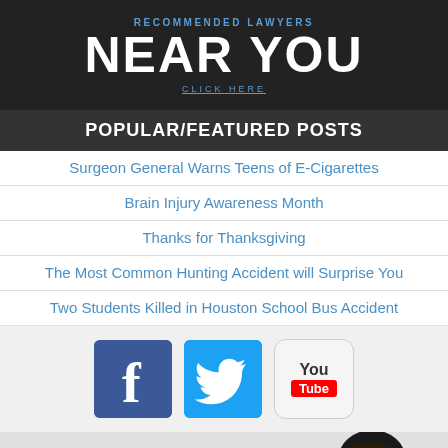[Figure (other): Dark banner with blue text 'RECOMMENDED LAWYERS' above large white text 'NEAR YOU' and blue underlined 'CLICK HERE']
POPULAR/FEATURED POSTS
Surgeon General Warns Teens of E-Cigarettes
Brain Injury Awareness Month
Thanks for Thanksgiving
The Most Common Hunting Accident will Surprise You
Two Students Killed in Houston School Bus Accident
[Figure (other): Social media icons: Facebook, Twitter, YouTube]
[Figure (photo): Advertisement: 'Have you suffered a head injury in the last ten years?' with image of person holding head]